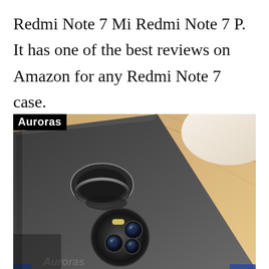Redmi Note 7 Mi Redmi Note 7 P. It has one of the best reviews on Amazon for any Redmi Note 7 case.
[Figure (photo): Close-up photo of a black Redmi Note 7 phone case showing the back with a ring holder/stand and circular triple camera cutout, placed on a wooden surface. The Auroras brand logo appears in the top-left corner of the image.]